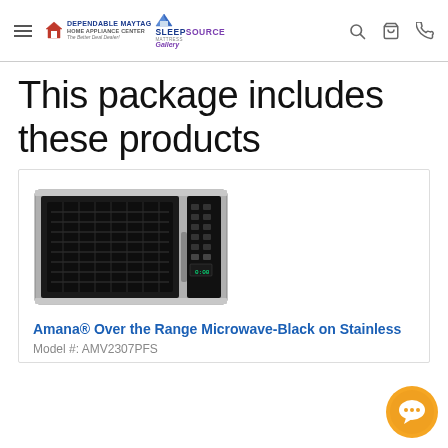Dependable Maytag Home Appliance Center – The Better Deal Dealer! / Sleep Source Mattress Gallery
This package includes these products
[Figure (photo): Amana Over the Range Microwave, black on stainless steel, front-facing product photo]
Amana® Over the Range Microwave-Black on Stainless
Model #: AMV2307PFS